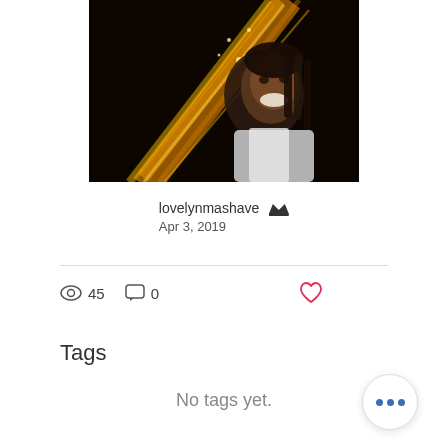[Figure (photo): Person smiling in front of a glowing structure with golden light streaks, nighttime photo]
lovelynmashave 👑
Apr 3, 2019
👁 45   💬 0   ♡
Tags
No tags yet.